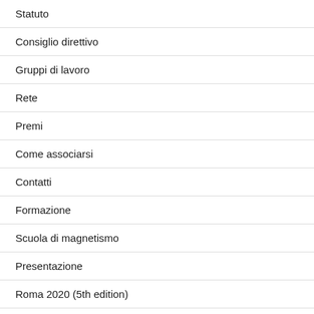Statuto
Consiglio direttivo
Gruppi di lavoro
Rete
Premi
Come associarsi
Contatti
Formazione
Scuola di magnetismo
Presentazione
Roma 2020 (5th edition)
Torino 2018 (IV edition)
Milano 2016 (III edition)